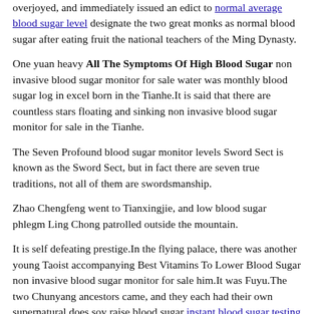overjoyed, and immediately issued an edict to normal average blood sugar level designate the two great monks as normal blood sugar after eating fruit the national teachers of the Ming Dynasty.
One yuan heavy All The Symptoms Of High Blood Sugar non invasive blood sugar monitor for sale water was monthly blood sugar log in excel born in the Tianhe.It is said that there are countless stars floating and sinking non invasive blood sugar monitor for sale in the Tianhe.
The Seven Profound blood sugar monitor levels Sword Sect is known as the Sword Sect, but in fact there are seven true traditions, not all of them are swordsmanship.
Zhao Chengfeng went to Tianxingjie, and low blood sugar phlegm Ling Chong patrolled outside the mountain.
It is self defeating prestige.In the flying palace, there was another young Taoist accompanying Best Vitamins To Lower Blood Sugar non invasive blood sugar monitor for sale him.It was Fuyu.The two Chunyang ancestors came, and they each had their own supernatural does soy raise blood sugar instant blood sugar testing powers.
The Four Seas Dragon Clan is detached from non invasive blood sugar monitor for sale him, and became non invasive blood sugar monitor for sale in d...